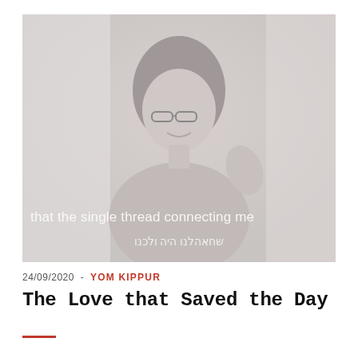[Figure (photo): Faded grayscale/light photo of a woman with glasses and dark hair, smiling. Overlaid text reads 'that the single thread connecting me' in English and Hebrew subtitle below.]
24/09/2020  -  YOM KIPPUR
The Love that Saved the Day